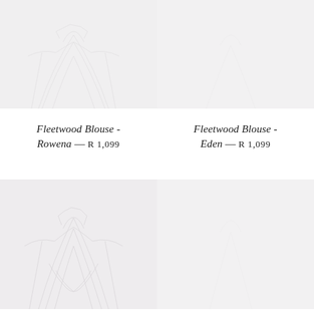[Figure (photo): Faint product photo of Fleetwood Blouse - Rowena, top left]
[Figure (photo): Faint product photo of Fleetwood Blouse - Eden, top right]
Fleetwood Blouse - Rowena — R 1,099
Fleetwood Blouse - Eden — R 1,099
[Figure (photo): Faint product photo, bottom left]
[Figure (photo): Faint product photo, bottom right]